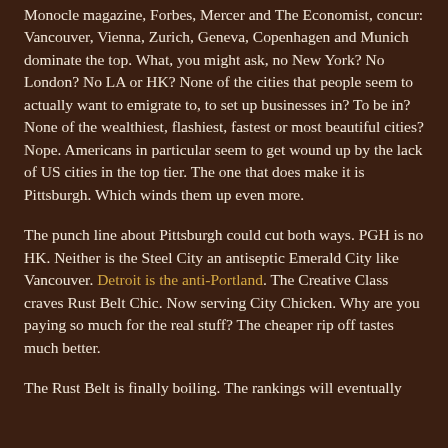Monocle magazine, Forbes, Mercer and The Economist, concur: Vancouver, Vienna, Zurich, Geneva, Copenhagen and Munich dominate the top. What, you might ask, no New York? No London? No LA or HK? None of the cities that people seem to actually want to emigrate to, to set up businesses in? To be in? None of the wealthiest, flashiest, fastest or most beautiful cities? Nope. Americans in particular seem to get wound up by the lack of US cities in the top tier. The one that does make it is Pittsburgh. Which winds them up even more.
The punch line about Pittsburgh could cut both ways. PGH is no HK. Neither is the Steel City an antiseptic Emerald City like Vancouver. Detroit is the anti-Portland. The Creative Class craves Rust Belt Chic. Now serving City Chicken. Why are you paying so much for the real stuff? The cheaper rip off tastes much better.
The Rust Belt is finally boiling. The rankings will eventually